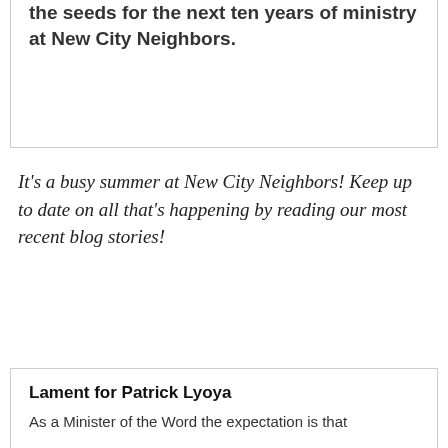the seeds for the next ten years of ministry at New City Neighbors.
It's a busy summer at New City Neighbors! Keep up to date on all that's happening by reading our most recent blog stories!
Lament for Patrick Lyoya
As a Minister of the Word the expectation is that